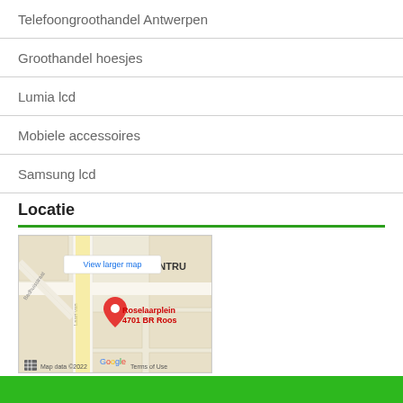Telefoongroothandel Antwerpen
Groothandel hoesjes
Lumia lcd
Mobiele accessoires
Samsung lcd
Locatie
[Figure (map): Google Map showing Roselaarplein 4701 BR Roos with a red location pin, streets including Badhuisstraat and Laan van, CENTRU label, View larger map button, Google branding, Map data ©2022, Terms of Use]